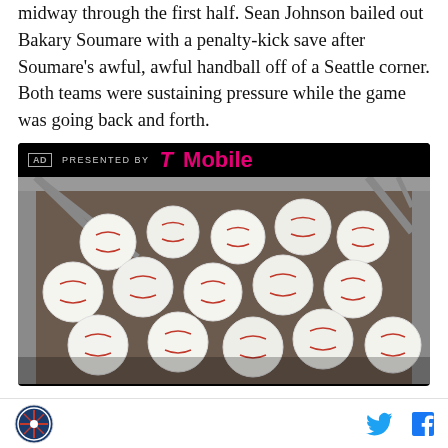midway through the first half. Sean Johnson bailed out Bakary Soumare with a penalty-kick save after Soumare's awful, awful handball off of a Seattle corner. Both teams were sustaining pressure while the game was going back and forth.
[Figure (photo): Advertisement banner presented by T-Mobile with a photo of baseballs in a metal basket/cage below it]
Site logo and social media icons (Twitter, Facebook)